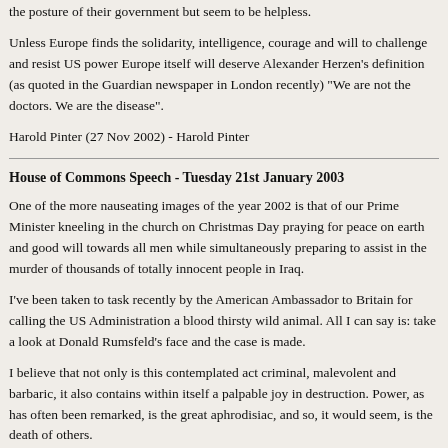the posture of their government but seem to be helpless.
Unless Europe finds the solidarity, intelligence, courage and will to challenge and resist US power Europe itself will deserve Alexander Herzen's definition (as quoted in the Guardian newspaper in London recently) "We are not the doctors. We are the disease".
Harold Pinter (27 Nov 2002) - Harold Pinter
House of Commons Speech - Tuesday 21st January 2003
One of the more nauseating images of the year 2002 is that of our Prime Minister kneeling in the church on Christmas Day praying for peace on earth and good will towards all men while simultaneously preparing to assist in the murder of thousands of totally innocent people in Iraq.
I've been taken to task recently by the American Ambassador to Britain for calling the US Administration a blood thirsty wild animal. All I can say is: take a look at Donald Rumsfeld's face and the case is made.
I believe that not only is this contemplated act criminal, malevolent and barbaric, it also contains within itself a palpable joy in destruction. Power, as has often been remarked, is the great aphrodisiac, and so, it would seem, is the death of others.